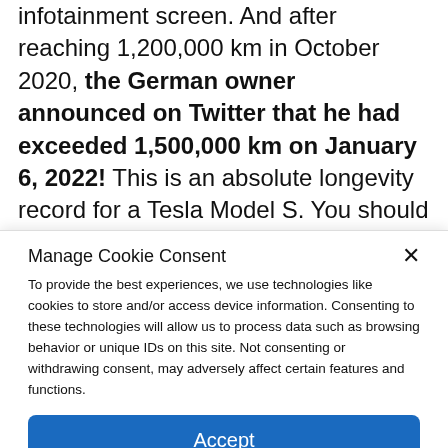infotainment screen. And after reaching 1,200,000 km in October 2020, the German owner announced on Twitter that he had exceeded 1,500,000 km on January 6, 2022! This is an absolute longevity record for a Tesla Model S. You should also know that the driver uses the Tesla as a taxi, which explains its high mileage.
Manage Cookie Consent
To provide the best experiences, we use technologies like cookies to store and/or access device information. Consenting to these technologies will allow us to process data such as browsing behavior or unique IDs on this site. Not consenting or withdrawing consent, may adversely affect certain features and functions.
Accept
Cookie Policy